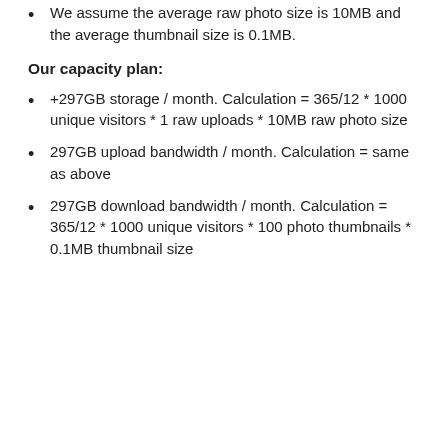We assume the average raw photo size is 10MB and the average thumbnail size is 0.1MB.
Our capacity plan:
+297GB storage / month. Calculation = 365/12 * 1000 unique visitors * 1 raw uploads * 10MB raw photo size
297GB upload bandwidth / month. Calculation = same as above
297GB download bandwidth / month. Calculation = 365/12 * 1000 unique visitors * 100 photo thumbnails * 0.1MB thumbnail size